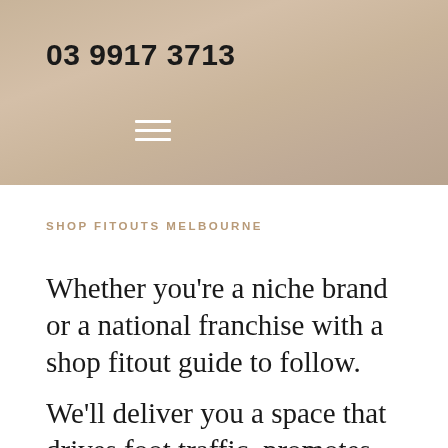03 9917 3713
SHOP FITOUTS MELBOURNE
Whether you're a niche brand or a national franchise with a shop fitout guide to follow.
We'll deliver you a space that drives foot traffic, promotes